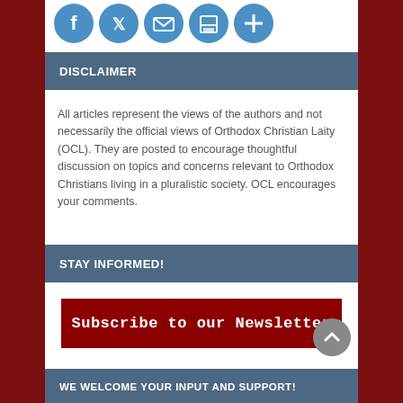[Figure (other): Social media sharing icons: Facebook, Twitter, Email, Print, Share]
DISCLAIMER
All articles represent the views of the authors and not necessarily the official views of Orthodox Christian Laity (OCL). They are posted to encourage thoughtful discussion on topics and concerns relevant to Orthodox Christians living in a pluralistic society. OCL encourages your comments.
STAY INFORMED!
Subscribe to our Newsletter
WE WELCOME YOUR INPUT AND SUPPORT!